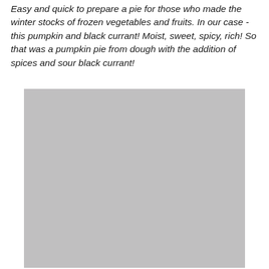Easy and quick to prepare a pie for those who made the winter stocks of frozen vegetables and fruits. In our case - this pumpkin and black currant! Moist, sweet, spicy, rich! So that was a pumpkin pie from dough with the addition of spices and sour black currant!
[Figure (photo): A large grey placeholder image representing a photo of a pumpkin pie with black currant.]